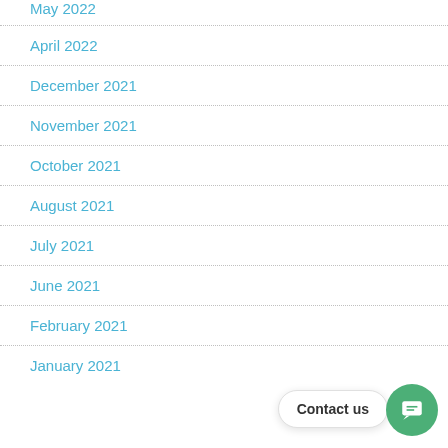May 2022
April 2022
December 2021
November 2021
October 2021
August 2021
July 2021
June 2021
February 2021
January 2021